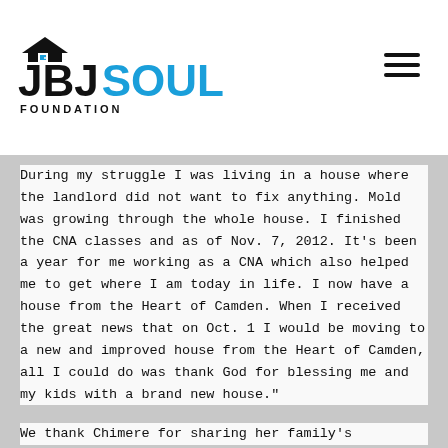JBJ SOUL FOUNDATION
During my struggle I was living in a house where the landlord did not want to fix anything. Mold was growing through the whole house. I finished the CNA classes and as of Nov. 7, 2012. It’s been a year for me working as a CNA which also helped me to get where I am today in life. I now have a house from the Heart of Camden. When I received the great news that on Oct. 1 I would be moving to a new and improved house from the Heart of Camden, all I could do was thank God for blessing me and my kids with a brand new house.”
We thank Chimere for sharing her family’s